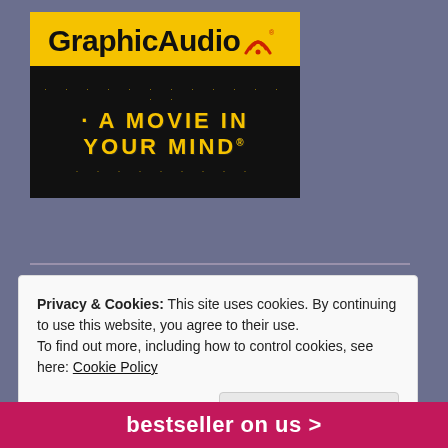[Figure (logo): GraphicAudio logo: yellow background with bold black text 'GraphicAudio' and wifi signal icon, below it a black banner with yellow text 'A MOVIE IN YOUR MIND' in stylized letters with splatter/dot decoration]
Privacy & Cookies: This site uses cookies. By continuing to use this website, you agree to their use.
To find out more, including how to control cookies, see here: Cookie Policy
Close and accept
bestseller on us >